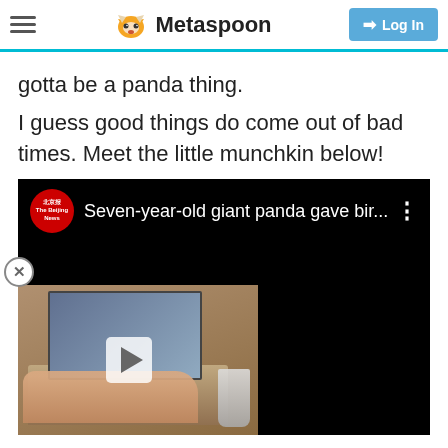Metaspoon — Log In
gotta be a panda thing.
I guess good things do come out of bad times. Meet the little munchkin below!
[Figure (screenshot): Embedded YouTube-style video player showing title 'Seven-year-old giant panda gave bir...' with a channel logo (Beijing News), video body showing a laptop thumbnail with hands typing and a play button overlay, and a close (X) button in the lower left.]